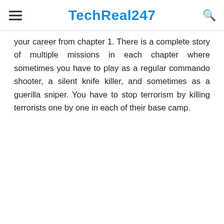TechReal247
your career from chapter 1. There is a complete story of multiple missions in each chapter where sometimes you have to play as a regular commando shooter, a silent knife killer, and sometimes as a guerilla sniper. You have to stop terrorism by killing terrorists one by one in each of their base camp.